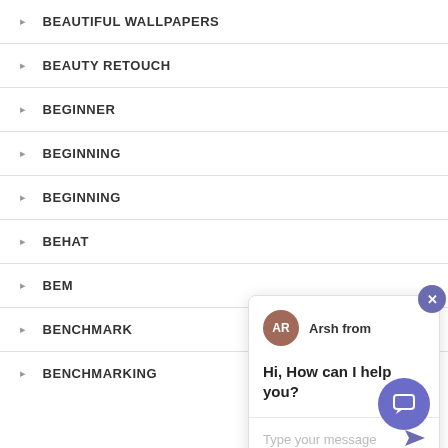BEAUTIFUL WALLPAPERS
BEAUTY RETOUCH
BEGINNER
BEGINNING
BEGINNING
BEHAT
BEM
BENCHMARK
BENCHMARKING
[Figure (screenshot): Chat popup with avatar 'AR' for 'Arsh from', message 'Hi, How can I help you?', and a 'Type your message' input field with a send arrow button. A close (x) button appears in the top-right of the popup area. A purple chat FAB button is in the bottom-right corner.]